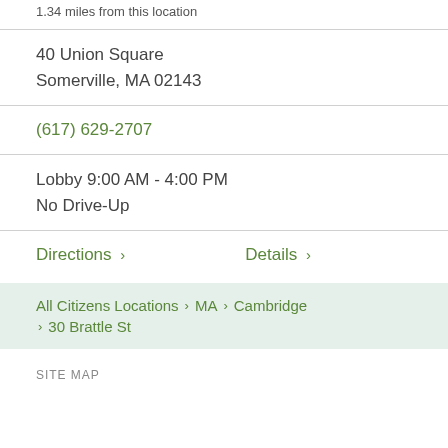1.34 miles from this location
40 Union Square
Somerville, MA 02143
(617) 629-2707
Lobby 9:00 AM - 4:00 PM
No Drive-Up
Directions > Details >
All Citizens Locations > MA > Cambridge > 30 Brattle St
SITE MAP